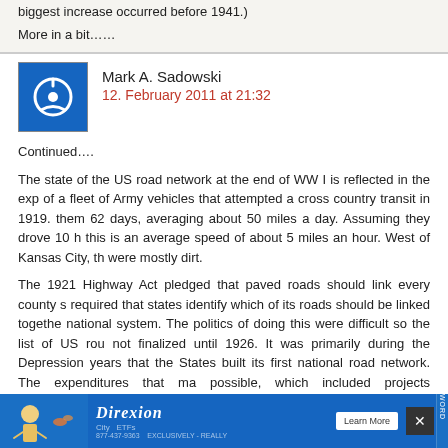biggest increase occurred before 1941.)
More in a bit……
Mark A. Sadowski
12. February 2011 at 21:32
Continued….
The state of the US road network at the end of WW I is reflected in the exp of a fleet of Army vehicles that attempted a cross country transit in 1919. them 62 days, averaging about 50 miles a day. Assuming they drove 10 h this is an average speed of about 5 miles an hour. West of Kansas City, th were mostly dirt.
The 1921 Highway Act pledged that paved roads should link every county s required that states identify which of its roads should be linked togethe national system. The politics of doing this were difficult so the list of US rou not finalized until 1926. It was primarily during the Depression years that the States built its first national road network. The expenditures that ma possible, which included projects administered by the PWA and the WP usually been interpreted as being motivated by a Keynesian make work ra and that is often how they were justified politically. But these projects had been planned and would have been undertaken anyway even if the econo suffere highway c the US hose out
[Figure (infographic): Advertisement banner for Direxion with blue background, showing a figure and Learn More button]